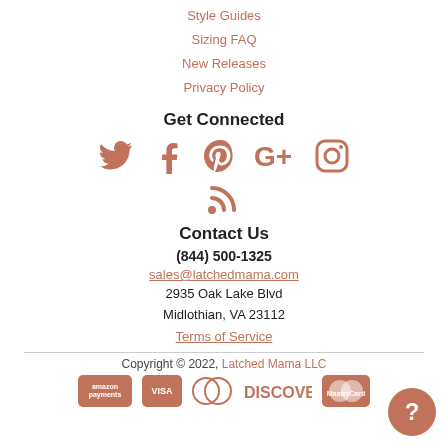Style Guides
Sizing FAQ
New Releases
Privacy Policy
Get Connected
[Figure (illustration): Social media icons: Twitter, Facebook, Pinterest, Google+, Instagram, RSS feed — all in terracotta/salmon color]
Contact Us
(844) 500-1325
sales@latchedmama.com
2935 Oak Lake Blvd
Midlothian, VA 23112
Terms of Service
Copyright © 2022, Latched Mama LLC
[Figure (logo): Payment method icons: Amazon Payments, Visa, Diners Club, Discover, MasterCard]